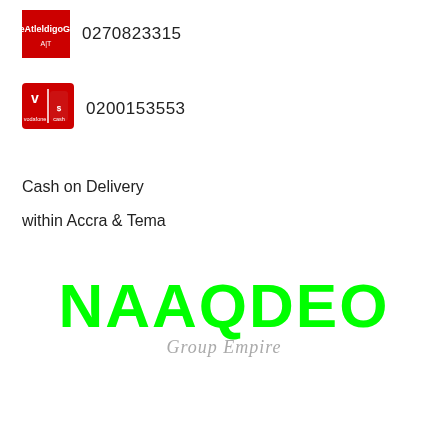[Figure (logo): AirtelTigo mobile money logo — red square with white Ghanaian script text]
0270823315
[Figure (logo): Vodafone Cash logo — red square with vodafone and cash icons]
0200153553
Cash on Delivery
within Accra & Tema
[Figure (logo): NAAQDEO Group Empire brand logo — large bold green text NAAQDEO with grey italic subtitle Group Empire]